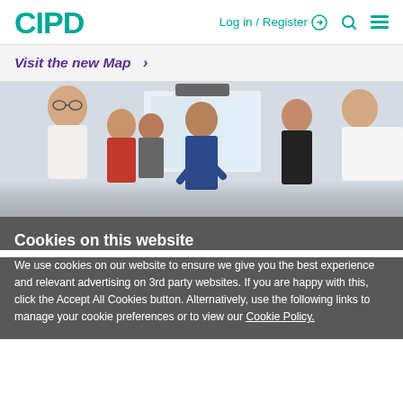CIPD | Log in / Register | Search | Menu
Visit the new Map >
[Figure (photo): Group of professionals in a meeting or workshop setting, several people talking and listening in an office environment.]
Cookies on this website
We use cookies on our website to ensure we give you the best experience and relevant advertising on 3rd party websites. If you are happy with this, click the Accept All Cookies button. Alternatively, use the following links to manage your cookie preferences or to view our Cookie Policy.